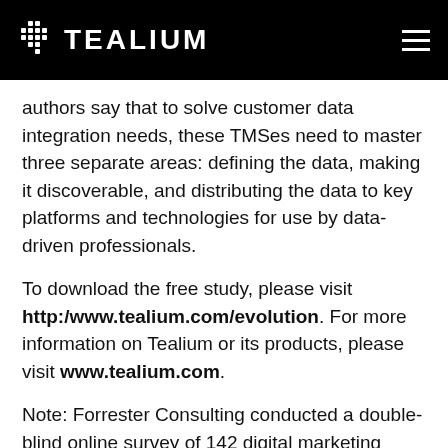TEALIUM
authors say that to solve customer data integration needs, these TMSes need to master three separate areas: defining the data, making it discoverable, and distributing the data to key platforms and technologies for use by data-driven professionals.
To download the free study, please visit http:/www.tealium.com/evolution. For more information on Tealium or its products, please visit www.tealium.com.
Note: Forrester Consulting conducted a double-blind online survey of 142 digital marketing decision makers in the U.S. with familiarity with